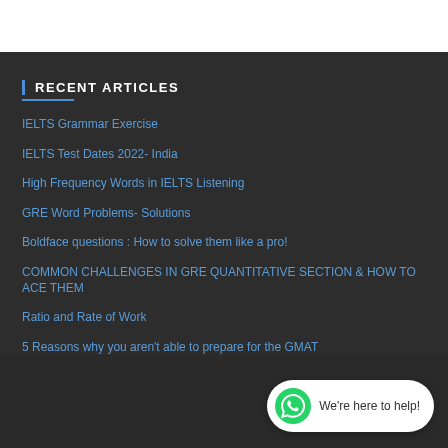RECENT ARTICLES
IELTS Grammar Exercise
IELTS Test Dates 2022- India
High Frequency Words in IELTS Listening
GRE Word Problems- Solutions
Boldface questions : How to solve them like a pro!
COMMON CHALLENGES IN GRE QUANTITATIVE SECTION & HOW TO ACE THEM
Ratio and Rate of Work
5 Reasons why you aren't able to prepare for the GMAT
[Figure (other): WhatsApp chat bubble with text 'We're here to help!']